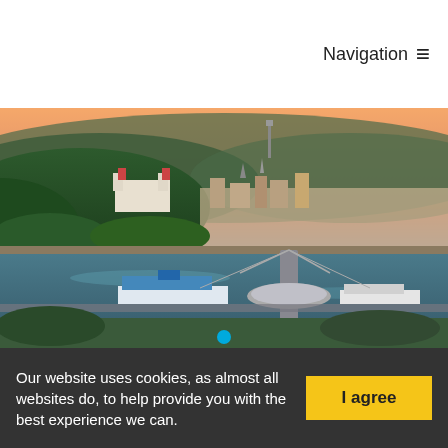[Figure (logo): Travel in Slovakia Good Idea logo on blue background]
Navigation ≡
[Figure (photo): Aerial view of Bratislava with the UFO Bridge over the Danube River, the castle on the hill, city skyline at sunset, and a barge passing under the bridge]
Bratislavské vychádzky a
Our website uses cookies, as almost all websites do, to help provide you with the best experience we can.
I agree